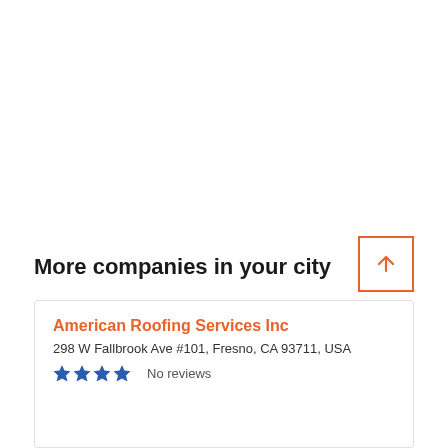More companies in your city
American Roofing Services Inc
298 W Fallbrook Ave #101, Fresno, CA 93711, USA
★★★★ No reviews